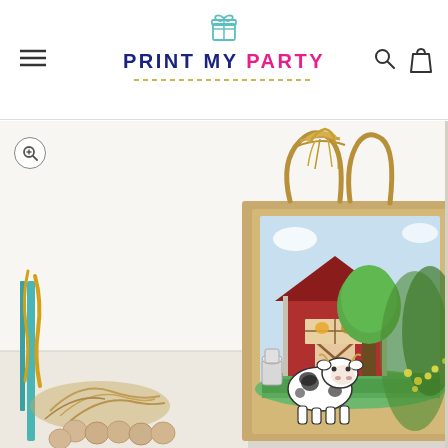[Figure (logo): Print My Party logo with gift box icon above text. 'PRINT MY' in dark navy blue, 'PARTY' in pink/magenta, with a decorative dashed line below. Hamburger menu icon on left, search and bag icons on right.]
[Figure (photo): Product photo of a kraft paper gift bag with rope handles tied in a bow at the top. The bag features a printed farm scene with a red barn, a green tree, and a cute cartoon cow standing on green grass with blue sky. Bag is surrounded by decorative props including wood bead garlands, wheat/dried grass, teal ribbon, and green botanical stems. The image is cropped on the right side.]